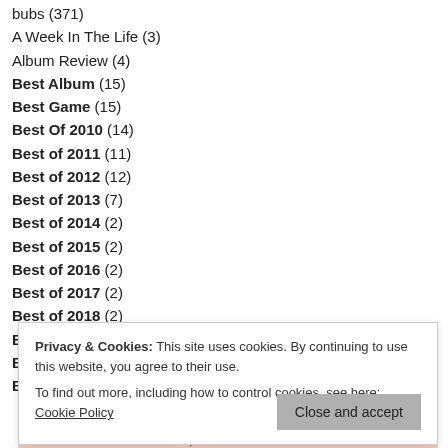A Week In The Life (3)
Album Review (4)
Best Album (15)
Best Game (15)
Best Of 2010 (14)
Best of 2011 (11)
Best of 2012 (12)
Best of 2013 (7)
Best of 2014 (2)
Best of 2015 (2)
Best of 2016 (2)
Best of 2017 (2)
Best of 2018 (2)
Best of 2019 (2)
Best of 2020 (1)
Best of 2021 (2)
Privacy & Cookies: This site uses cookies. By continuing to use this website, you agree to their use. To find out more, including how to control cookies, see here: Cookie Policy
Close and accept
Advertisements